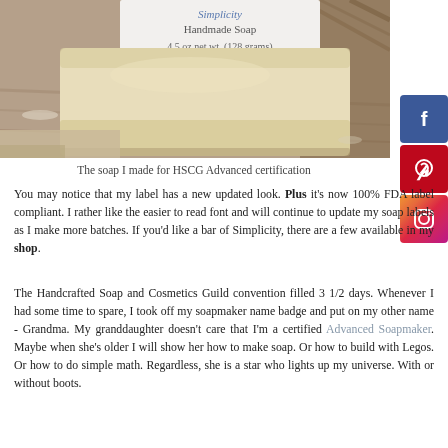[Figure (photo): A bar of handmade soap labeled 'Simplicity, Handmade Soap, 4.5 oz net wt. (128 grams)' resting on a rustic wooden surface, with social media icons (Facebook, Pinterest, Instagram) visible on the right edge.]
The soap I made for HSCG Advanced certification
You may notice that my label has a new updated look. Plus it's now 100% FDA label compliant. I rather like the easier to read font and will continue to update my soap labels as I make more batches. If you'd like a bar of Simplicity, there are a few available in my shop.
The Handcrafted Soap and Cosmetics Guild convention filled 3 1/2 days. Whenever I had some time to spare, I took off my soapmaker name badge and put on my other name - Grandma. My granddaughter doesn't care that I'm a certified Advanced Soapmaker. Maybe when she's older I will show her how to make soap. Or how to build with Legos. Or how to do simple math. Regardless, she is a star who lights up my universe. With or without boots.